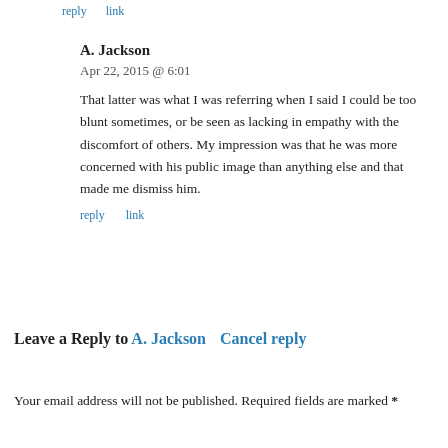reply    link
A. Jackson
Apr 22, 2015 @ 6:01
That latter was what I was referring when I said I could be too blunt sometimes, or be seen as lacking in empathy with the discomfort of others. My impression was that he was more concerned with his public image than anything else and that made me dismiss him.
reply    link
Leave a Reply to A. Jackson   Cancel reply
Your email address will not be published. Required fields are marked *